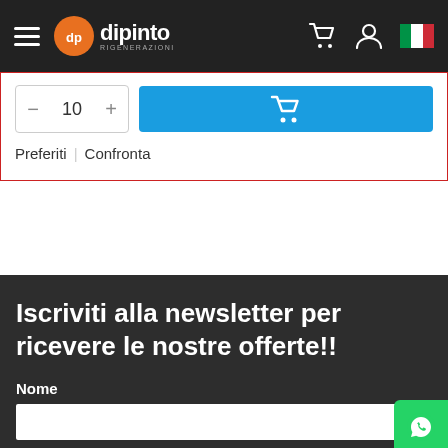dipinto rigenerazioni - navigation header with hamburger menu, logo, cart, user, and Italian flag
10
Preferiti | Confronta
Iscriviti alla newsletter per ricevere le nostre offerte!!
Nome